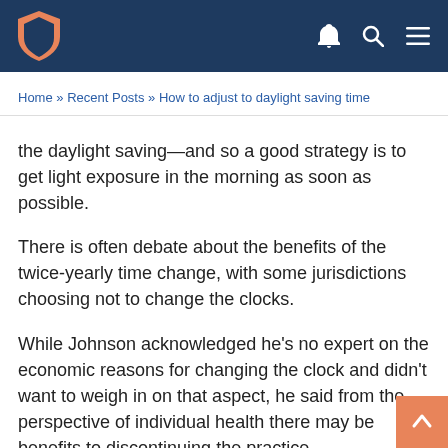Home » Recent Posts » How to adjust to daylight saving time
the daylight saving—and so a good strategy is to get light exposure in the morning as soon as possible.
There is often debate about the benefits of the twice-yearly time change, with some jurisdictions choosing not to change the clocks.
While Johnson acknowledged he's no expert on the economic reasons for changing the clock and didn't want to weigh in on that aspect, he said from the perspective of individual health there may be benefits to discontinuing the practice.